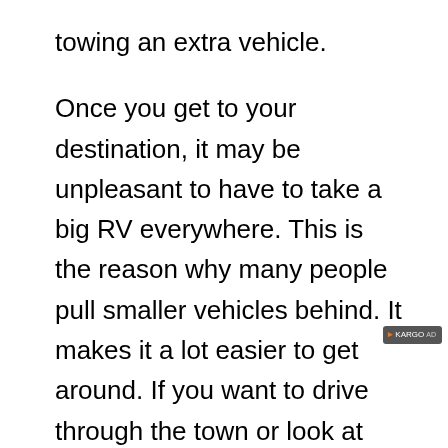towing an extra vehicle.
Once you get to your destination, it may be unpleasant to have to take a big RV everywhere. This is the reason why many people pull smaller vehicles behind. It makes it a lot easier to get around. If you want to drive through the town or look at cool places on a trip, flat towing is the perfect method to bring a spare car that's just for driving.